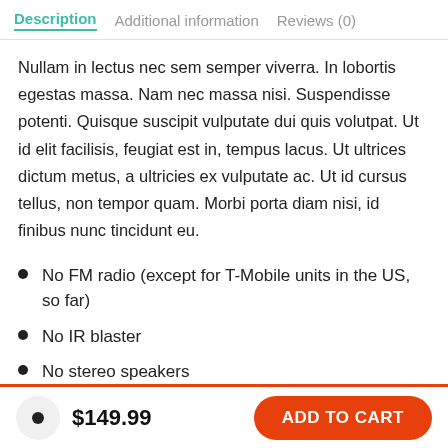Description | Additional information | Reviews (0)
Nullam in lectus nec sem semper viverra. In lobortis egestas massa. Nam nec massa nisi. Suspendisse potenti. Quisque suscipit vulputate dui quis volutpat. Ut id elit facilisis, feugiat est in, tempus lacus. Ut ultrices dictum metus, a ultricies ex vulputate ac. Ut id cursus tellus, non tempor quam. Morbi porta diam nisi, id finibus nunc tincidunt eu.
No FM radio (except for T-Mobile units in the US, so far)
No IR blaster
No stereo speakers
$149.99  ADD TO CART